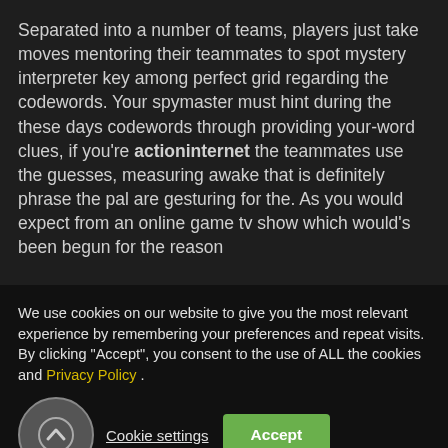Separated into a number of teams, players just take moves mentoring their teammates to spot mystery interpreter key among perfect grid regarding the codewords. Your spymaster must hint during the these days codewords through providing your-word clues, if you're actioninternet the teammates use the guesses, measuring awake that is definitely phrase the pal are gesturing for the. As you would expect from an online game tv show which would's been begun for the reason
We use cookies on our website to give you the most relevant experience by remembering your preferences and repeat visits. By clicking "Accept", you consent to the use of ALL the cookies and Privacy Policy .